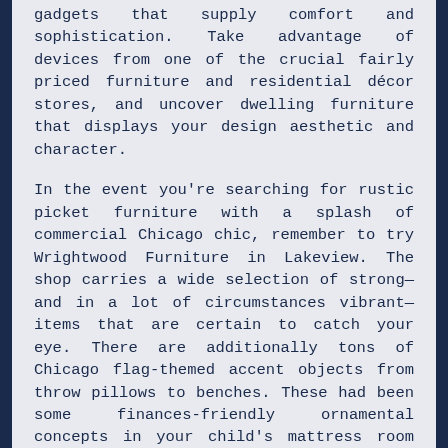gadgets that supply comfort and sophistication. Take advantage of devices from one of the crucial fairly priced furniture and residential décor stores, and uncover dwelling furniture that displays your design aesthetic and character.
In the event you're searching for rustic picket furniture with a splash of commercial Chicago chic, remember to try Wrightwood Furniture in Lakeview. The shop carries a wide selection of strong—and in a lot of circumstances vibrant—items that are certain to catch your eye. There are additionally tons of Chicago flag-themed accent objects from throw pillows to benches. These had been some finances-friendly ornamental concepts in your child's mattress room design. Simply, browse on-line for the bed room furniture for teenagers and replenish the room.